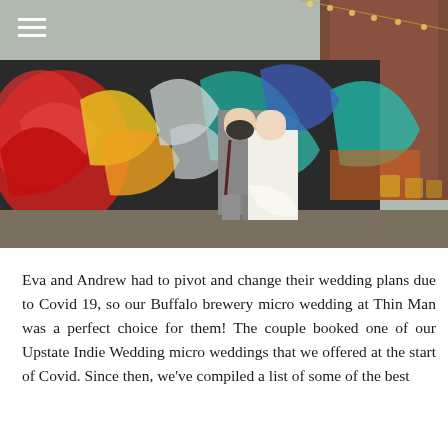[Figure (photo): A couple (bride and groom) walking in front of a large colorful graffiti mural on a brick industrial building. The groom has a beard and wears gray pants with suspenders; the bride wears a white lace dress. String lights hang overhead and yellow chairs are visible in the background. A hamburger menu icon (three white horizontal lines) appears in the upper left corner.]
Eva and Andrew had to pivot and change their wedding plans due to Covid 19, so our Buffalo brewery micro wedding at Thin Man was a perfect choice for them! The couple booked one of our Upstate Indie Wedding micro weddings that we offered at the start of Covid. Since then, we've compiled a list of some of the best